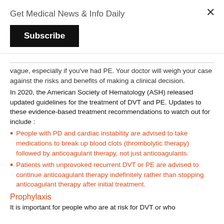Get Medical News & Info Daily
Subscribe
vague, especially if you've had PE. Your doctor will weigh your case against the risks and benefits of making a clinical decision.
In 2020, the American Society of Hematology (ASH) released updated guidelines for the treatment of DVT and PE. Updates to these evidence-based treatment recommendations to watch out for include :
People with PD and cardiac instability are advised to take medications to break up blood clots (thrombolytic therapy) followed by anticoagulant therapy, not just anticoagulants.
Patients with unprovoked recurrent DVT or PE are advised to continue anticoagulant therapy indefinitely rather than stopping anticoagulant therapy after initial treatment.
Prophylaxis
It is important for people who are at risk for DVT or who